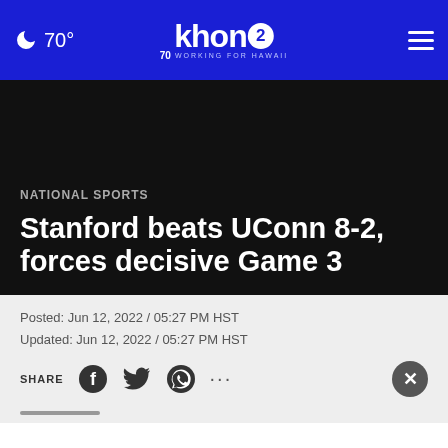🌙 70° | khon2 WORKING FOR HAWAII | 70 YEARS
[Figure (photo): Dark/black image area below header]
NATIONAL SPORTS
Stanford beats UConn 8-2, forces decisive Game 3
Posted: Jun 12, 2022 / 05:27 PM HST
Updated: Jun 12, 2022 / 05:27 PM HST
SHARE [Facebook] [Twitter] [WhatsApp] [...] [x]